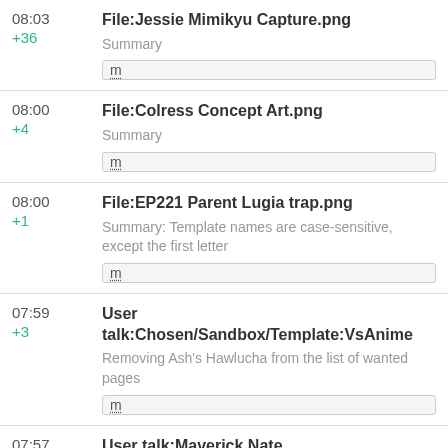08:03 +36 File:Jessie Mimikyu Capture.png Summary m
08:00 +4 File:Colress Concept Art.png Summary m
08:00 +1 File:EP221 Parent Lugia trap.png Summary: Template names are case-sensitive, except the first letter m
07:59 +3 User talk:Chosen/Sandbox/Template:VsAnime Removing Ash's Hawlucha from the list of wanted pages m
07:57 User talk:Maverick Nate